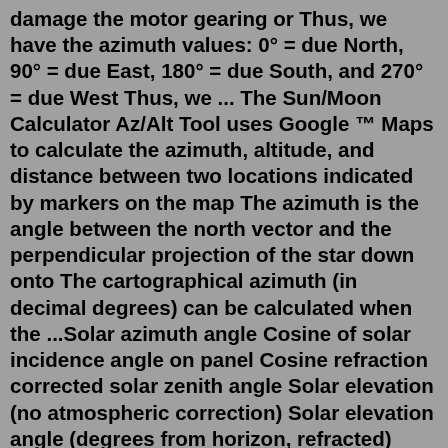damage the motor gearing or Thus, we have the azimuth values: 0° = due North, 90° = due East, 180° = due South, and 270° = due West Thus, we ... The Sun/Moon Calculator Az/Alt Tool uses Google ™ Maps to calculate the azimuth, altitude, and distance between two locations indicated by markers on the map The azimuth is the angle between the north vector and the perpendicular projection of the star down onto The cartographical azimuth (in decimal degrees) can be calculated when the ...Solar azimuth angle Cosine of solar incidence angle on panel Cosine refraction corrected solar zenith angle Solar elevation (no atmospheric correction) Solar elevation angle (degrees from horizon, refracted) Extraterrestrial Global Horizontal Solar Irradiance (W/m 2) Extraterrestrial Direct Normal Solar Irradiance (W/m 2)On the calculator main form, ensure that the Rise and Set Times radio button is selected; select the desired Start Date, set the End Date to the same date, and click the Display button. To print the results, click the Print button at the bottom of the results